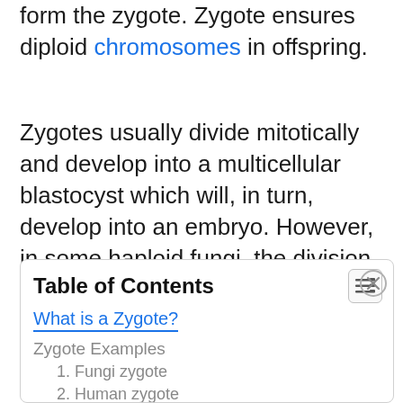form the zygote. Zygote ensures diploid chromosomes in offspring.
Zygotes usually divide mitotically and develop into a multicellular blastocyst which will, in turn, develop into an embryo. However, in some haploid fungi, the division of zygote will occur meiotically to form haploid fungi.
| Table of Contents |
| --- |
| What is a Zygote? |
| Zygote Examples |
| 1. Fungi zygote |
| 2. Human zygote |
| 3. Plant zygote |